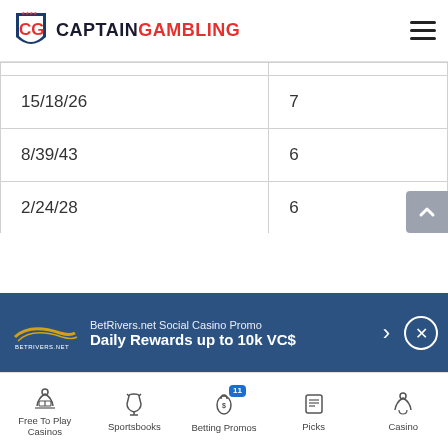CaptainGambling logo and navigation
| 15/18/26 | 7 |
| 8/39/43 | 6 |
| 2/24/28 | 6 |
| 3/15/27 | 6 |
| 3/16/34 | 6 |
| 4/12/38 | 6 |
[Figure (infographic): BetRivers.net Social Casino Promo banner: Daily Rewards up to 10k VC$]
Free To Play Casinos | Sportsbooks | Betting Promos (11) | Picks | Casino